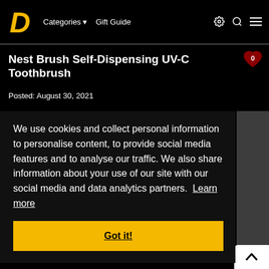[Figure (logo): Yellow stylized 'D' letter logo for a website/blog]
Categories ▼   Gift Guide   ⚙ 🔍 ≡
Nest Brush Self-Dispensing UV-C Toothbrush
Posted: August 30, 2021
We use cookies and collect personal information to personalise content, to provide social media features and to analyse our traffic. We also share information about your use of our site with our social media and data analytics partners. Learn more
Got it!